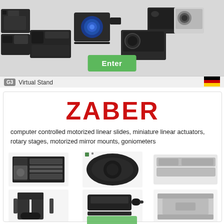[Figure (photo): Banner showing various industrial camera and imaging device products against light gray background, with a green 'Enter' button]
G3  Virtual Stand
ZABER
computer controlled motorized linear slides, miniature linear actuators, rotary stages, motorized mirror mounts, goniometers
[Figure (photo): Six product images: motorized linear slide, rotary stage, linear actuator, mirror mount bracket, motorized actuator, and XY stage]